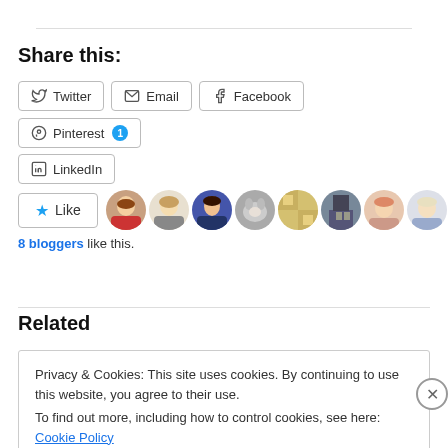Share this:
Twitter
Email
Facebook
Pinterest 1
LinkedIn
[Figure (other): Like button with 8 blogger avatars]
8 bloggers like this.
Related
Privacy & Cookies: This site uses cookies. By continuing to use this website, you agree to their use. To find out more, including how to control cookies, see here: Cookie Policy
Close and accept